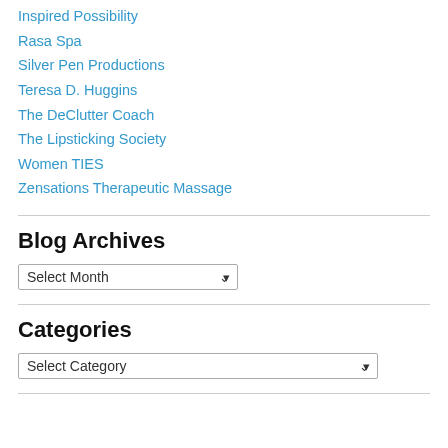Inspired Possibility
Rasa Spa
Silver Pen Productions
Teresa D. Huggins
The DeClutter Coach
The Lipsticking Society
Women TIES
Zensations Therapeutic Massage
Blog Archives
Select Month (dropdown)
Categories
Select Category (dropdown)